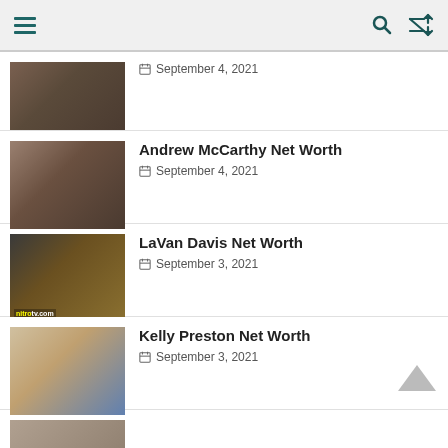Navigation bar with menu, search, and shuffle icons
[Figure (photo): Partial photo of a young man with dark hair and beard]
September 4, 2021
Andrew McCarthy Net Worth
September 4, 2021
[Figure (photo): Photo of LaVan Davis speaking into a microphone at an event]
LaVan Davis Net Worth
September 3, 2021
[Figure (photo): Photo of Kelly Preston and John Travolta at an event]
Kelly Preston Net Worth
September 3, 2021
[Figure (photo): Partial photo of a person at the bottom of the page]